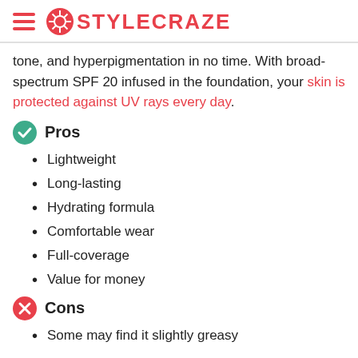STYLECRAZE
tone, and hyperpigmentation in no time. With broad-spectrum SPF 20 infused in the foundation, your skin is protected against UV rays every day.
Pros
Lightweight
Long-lasting
Hydrating formula
Comfortable wear
Full-coverage
Value for money
Cons
Some may find it slightly greasy